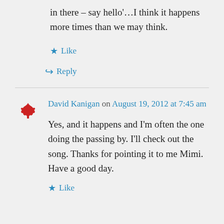in there – say hello'…I think it happens more times than we may think.
Like
Reply
David Kanigan on August 19, 2012 at 7:45 am
Yes, and it happens and I'm often the one doing the passing by. I'll check out the song. Thanks for pointing it to me Mimi. Have a good day.
Like